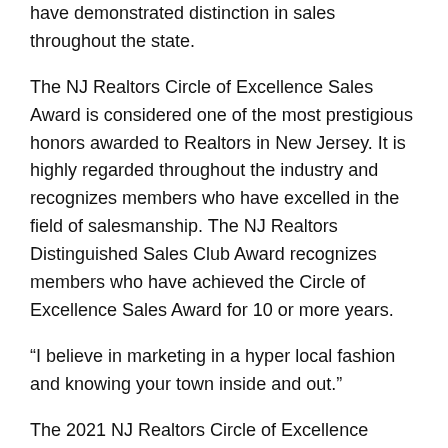have demonstrated distinction in sales throughout the state.
The NJ Realtors Circle of Excellence Sales Award is considered one of the most prestigious honors awarded to Realtors in New Jersey. It is highly regarded throughout the industry and recognizes members who have excelled in the field of salesmanship. The NJ Realtors Distinguished Sales Club Award recognizes members who have achieved the Circle of Excellence Sales Award for 10 or more years.
“I believe in marketing in a hyper local fashion and knowing your town inside and out.”
The 2021 NJ Realtors Circle of Excellence Sales Award level requirements were:
• Bronze: $2.5 Million and 15 Units Minimum or 30 Units.